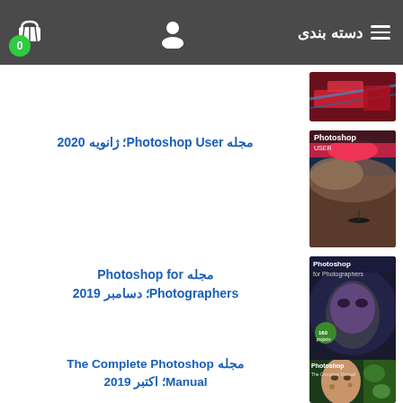دسته بندی
[Figure (screenshot): Website header with cart icon (badge showing 0), user icon, category text 'دسته بندی', and hamburger menu icon on dark gray background]
[Figure (photo): Thumbnail of a magazine cover with red/blue tram image]
مجله Photoshop User؛ ژانویه 2020
[Figure (photo): Thumbnail of Photoshop User magazine cover showing dramatic seascape and lips]
مجله Photoshop for Photographers؛ دسامبر 2019
[Figure (photo): Thumbnail of Photoshop for Photographers magazine cover with masked face]
مجله The Complete Photoshop Manual؛ اکتبر 2019
[Figure (photo): Thumbnail of The Complete Photoshop manual cover with woman face]